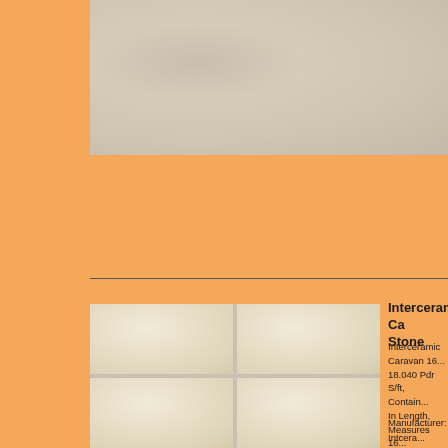[Figure (photo): Close-up photo of a stone/tile texture in beige/cream color, showing natural stone surface detail]
[Figure (photo): Grid of four ceramic/stone tiles in beige/cream color with light grout lines between them, showing the tile product]
Interceramic Ca Stone
Interceramic Caravan 16... 18.040 Pdr S/ft, Contain... In Length, Measures 16... Lbs, In The Beige Colo... Squares Design Finish F... Edge Type End Type, W... Install, Thin Set Install
Manufacturer: Intcera... SKU: Intcara100116 Category: Tile & Stone